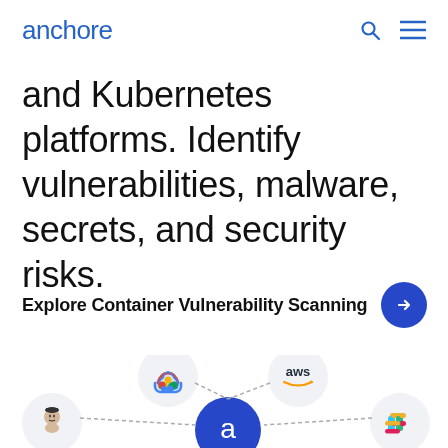anchore
and Kubernetes platforms. Identify vulnerabilities, malware, secrets, and security risks.
Explore Container Vulnerability Scanning →
[Figure (infographic): Integration diagram showing logos of Google Cloud, AWS, Jenkins (butler icon), Slack, and a central Anchore 'a' logo connected by dotted lines in a hub-and-spoke pattern.]